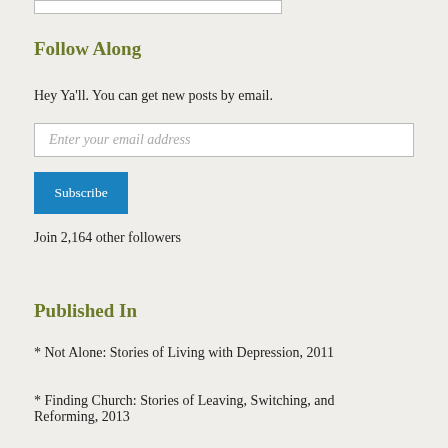Follow Along
Hey Ya'll. You can get new posts by email.
Enter your email address
Subscribe
Join 2,164 other followers
Published In
* Not Alone: Stories of Living with Depression, 2011
* Finding Church: Stories of Leaving, Switching, and Reforming, 2013